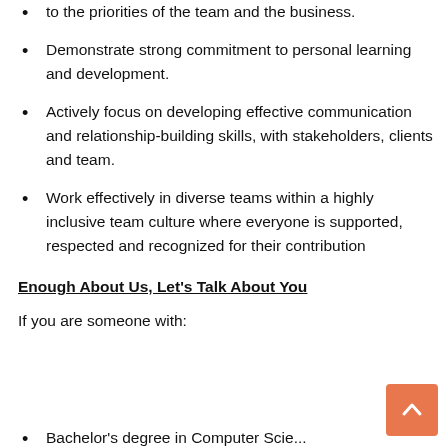Understand how our daily work contributes to the priorities of the team and the business.
Demonstrate strong commitment to personal learning and development.
Actively focus on developing effective communication and relationship-building skills, with stakeholders, clients and team.
Work effectively in diverse teams within a highly inclusive team culture where everyone is supported, respected and recognized for their contribution
Enough About Us, Let's Talk About You
If you are someone with:
Bachelor's degree in Computer Science...